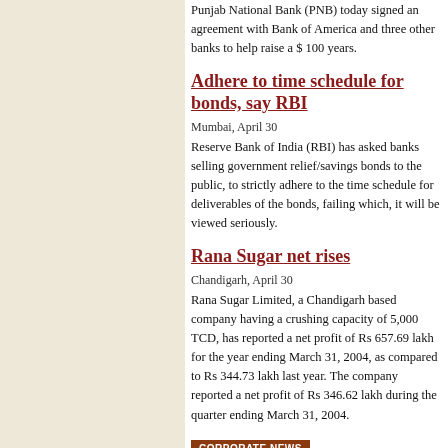Punjab National Bank (PNB) today signed an agreement with Bank of America and three other banks to help raise a $ 100 million for 5 years.
Adhere to time schedule for bonds, says RBI
Mumbai, April 30
Reserve Bank of India (RBI) has asked banks selling government relief/savings bonds to the public, to strictly adhere to the time schedule for deliverables of the bonds, failing which, it will be viewed seriously.
Rana Sugar net rises
Chandigarh, April 30
Rana Sugar Limited, a Chandigarh based company having a crushing capacity of 5,000 TCD, has reported a net profit of Rs 657.69 lakh for the year ending March 31, 2004, as compared to Rs 344.73 lakh last year. The company reported a net profit of Rs 346.62 lakh during the quarter ending March 31, 2004.
CORPORATE NEWS
ICICI Bank nets Rs 455 cr
Mumbai, April 30
ICICI Bank has posted a net profit of Rs 455 crore as compared to a net profit of Rs 337.68 crore for the...